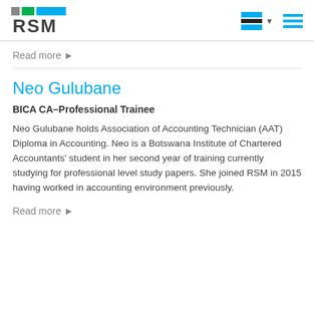RSM
Read more ▶
Neo Gulubane
BICA CA–Professional Trainee
Neo Gulubane holds Association of Accounting Technician (AAT) Diploma in Accounting. Neo is a Botswana Institute of Chartered Accountants' student in her second year of training currently studying for professional level study papers. She joined RSM in 2015 having worked in accounting environment previously.
Read more ▶